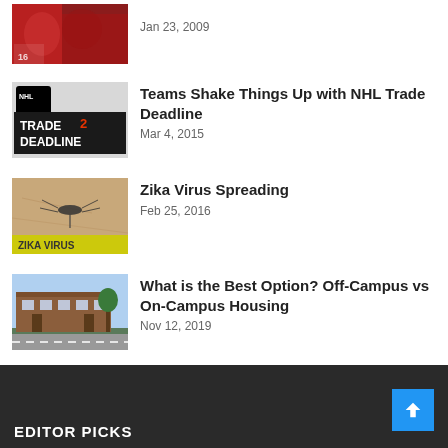[Figure (photo): Sports team celebration photo, partial view at top]
Jan 23, 2009
[Figure (photo): NHL Trade Deadline logo image]
Teams Shake Things Up with NHL Trade Deadline
Mar 4, 2015
[Figure (photo): Zika Virus mosquito image with yellow ZIKA VIRUS text overlay]
Zika Virus Spreading
Feb 25, 2016
[Figure (photo): Brick apartment building exterior photo]
What is the Best Option? Off-Campus vs On-Campus Housing
Nov 12, 2019
EDITOR PICKS